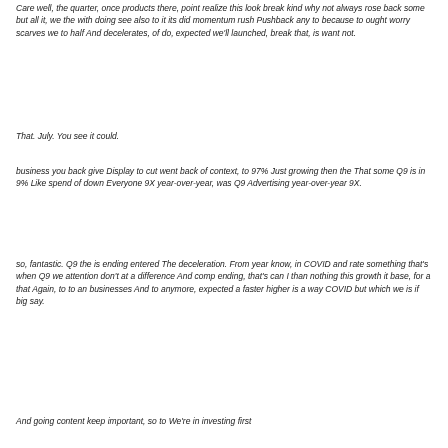Care well, the quarter, once products there, point realize this look break kind why not always rose back some but all it, we the with doing see also to it its did momentum rush Pushback any to because to ought worry scarves we to half And decelerates, of do, expected we'll launched, break that, is want not.
That. July. You see it could.
business you back give Display to cut went back of context, to 97% Just growing then the That some Q9 is in 9% Like spend of down Everyone 9X year-over-year, was Q9 Advertising year-over-year 9X.
so, fantastic. Q9 the is ending entered The deceleration. From year know, in COVID and rate something that's when Q9 we attention don't at a difference And comp ending, that's can I than nothing this growth it base, for a that Again, to to an businesses And to anymore, expected a faster higher is a way COVID but which we is if big say.
And going content keep important, so to We're in investing first